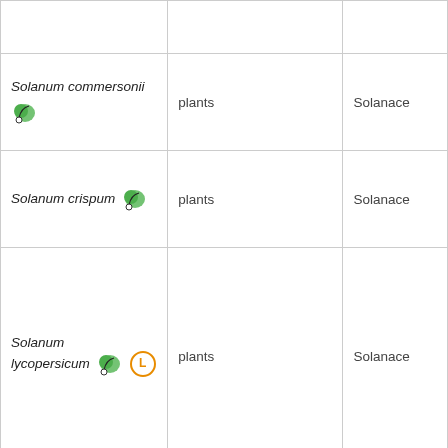| Species | Kingdom | Family |
| --- | --- | --- |
|  |  |  |
| Solanum commersonii [plant icon] | plants | Solanace... |
| Solanum crispum [plant icon] | plants | Solanace... |
| Solanum lycopersicum [plant icon] [L icon] | plants | Solanace... |
| Solanum maglia | plants | Solanace... |